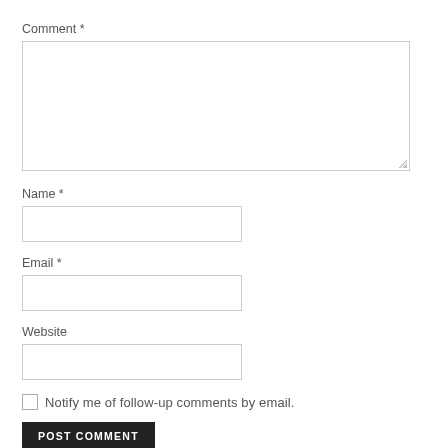Comment *
[Figure (screenshot): Large textarea input box for comment]
Name *
[Figure (screenshot): Small text input box for name]
Email *
[Figure (screenshot): Small text input box for email]
Website
[Figure (screenshot): Small text input box for website]
Notify me of follow-up comments by email.
POST COMMENT